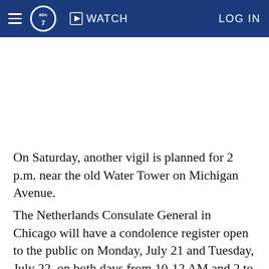☰ abc7 ▶ WATCH LOG IN
[Figure (other): White blank advertisement or media space below navigation header]
On Saturday, another vigil is planned for 2 p.m. near the old Water Tower on Michigan Avenue.
The Netherlands Consulate General in Chicago will have a condolence register open to the public on Monday, July 21 and Tuesday, July 22, on both days from 10-12 AM and 2 to 4 PM at 303 E. Wa...